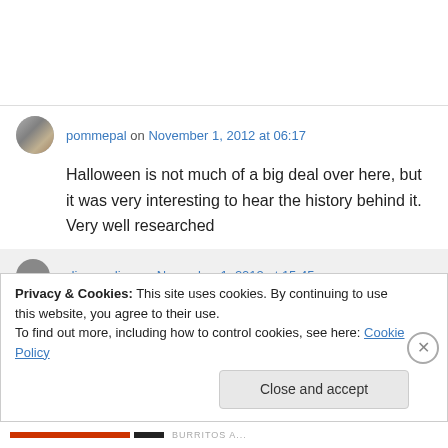pommepal on November 1, 2012 at 06:17
Halloween is not much of a big deal over here, but it was very interesting to hear the history behind it. Very well researched
Privacy & Cookies: This site uses cookies. By continuing to use this website, you agree to their use.
To find out more, including how to control cookies, see here: Cookie Policy
Close and accept